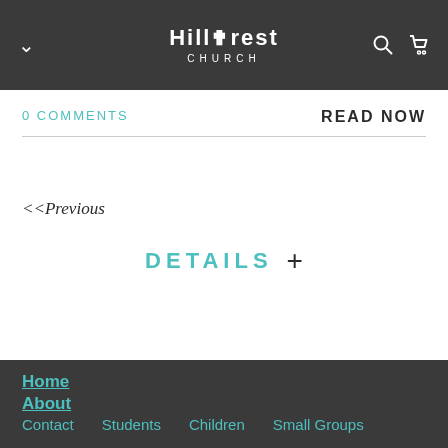Hillcrest Church
0 COMMENTS
READ NOW
<<Previous
DETAILS +
Home
About
Contact
Students
Children
Small Groups